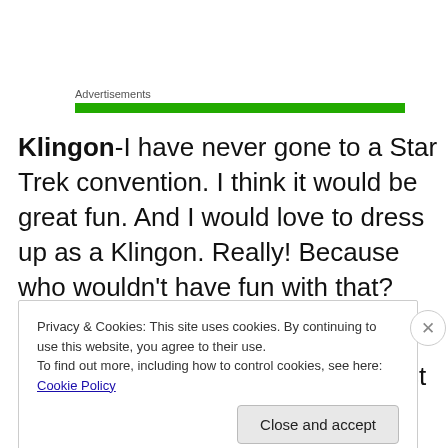Advertisements
[Figure (other): Green advertisement banner bar]
Klingon-I have never gone to a Star Trek convention.  I think it would be great fun.  And I would love to dress up as a Klingon.  Really!  Because who wouldn't have fun with that?
Libraries-Still the ultimate geek haven.  It's changed a lot in the past few years.  A lot of geeks come to not only
Privacy & Cookies: This site uses cookies. By continuing to use this website, you agree to their use.
To find out more, including how to control cookies, see here: Cookie Policy
Close and accept